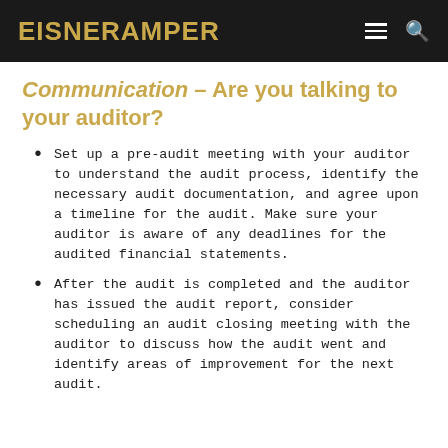EisnerAmper
Communication – Are you talking to your auditor?
Set up a pre-audit meeting with your auditor to understand the audit process, identify the necessary audit documentation, and agree upon a timeline for the audit. Make sure your auditor is aware of any deadlines for the audited financial statements.
After the audit is completed and the auditor has issued the audit report, consider scheduling an audit closing meeting with the auditor to discuss how the audit went and identify areas of improvement for the next audit.